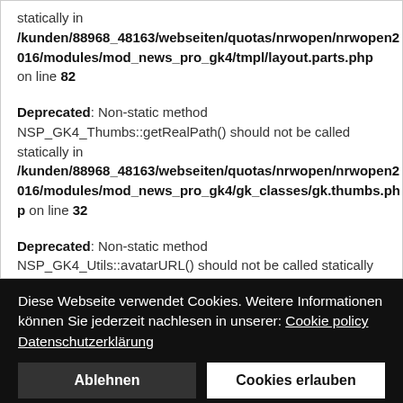statically in /kunden/88968_48163/webseiten/quotas/nrwopen/nrwopen2016/modules/mod_news_pro_gk4/tmpl/layout.parts.php on line 82
Deprecated: Non-static method NSP_GK4_Thumbs::getRealPath() should not be called statically in /kunden/88968_48163/webseiten/quotas/nrwopen/nrwopen2016/modules/mod_news_pro_gk4/gk_classes/gk.thumbs.php on line 32
Deprecated: Non-static method NSP_GK4_Utils::avatarURL() should not be called statically in
Diese Webseite verwendet Cookies. Weitere Informationen können Sie jederzeit nachlesen in unserer: Cookie policy   Datenschutzerklärung
Ablehnen
Cookies erlauben